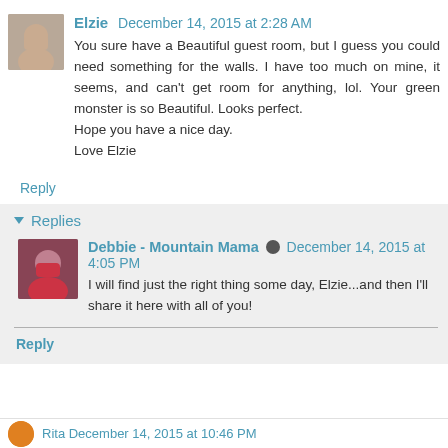Elzie  December 14, 2015 at 2:28 AM
You sure have a Beautiful guest room, but I guess you could need something for the walls. I have too much on mine, it seems, and can't get room for anything, lol. Your green monster is so Beautiful. Looks perfect.
Hope you have a nice day.
Love Elzie
Reply
Replies
Debbie - Mountain Mama  December 14, 2015 at 4:05 PM
I will find just the right thing some day, Elzie...and then I'll share it here with all of you!
Reply